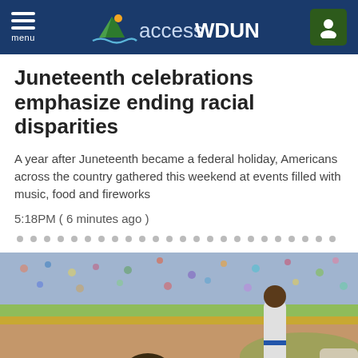accessWDUN — menu
Juneteenth celebrations emphasize ending racial disparities
A year after Juneteenth became a federal holiday, Americans across the country gathered this weekend at events filled with music, food and fireworks
5:18PM ( 6 minutes ago )
[Figure (photo): Baseball player sliding on the ground at a baseball field with crowd in background]